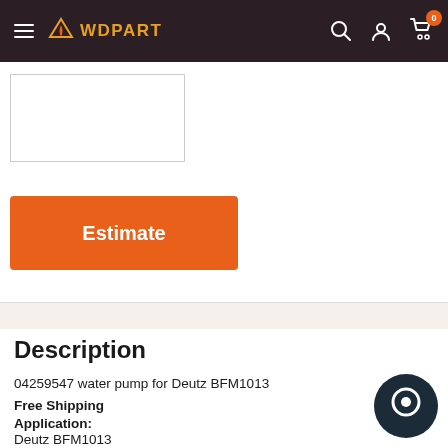WDPART — navigation header with hamburger menu, logo, search, account, and cart icons
[Figure (photo): Product image placeholder — white box with border]
Estimate
Description
04259547 water pump for Deutz BFM1013
Free Shipping
Application:
Deutz BFM1013
Interchange part number:
[Figure (other): Chat support bubble icon — dark circular icon bottom right]